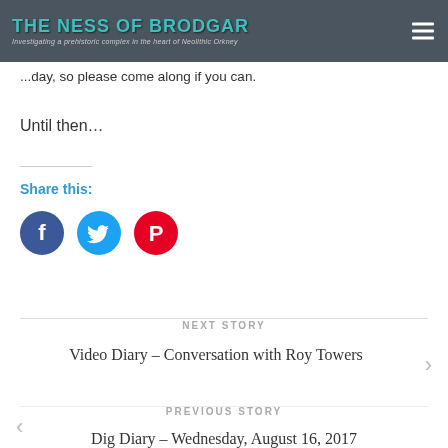THE NESS OF BRODGAR | Investigating a prehistoric complex in the heart of Neolithic Orkney
headaches tomorrow morning.
...day, so please come along if you can.
Until then…
Share this:
[Figure (infographic): Three social media share buttons: Facebook (blue circle with f icon), Twitter (light blue circle with bird icon), Pinterest (red circle with P icon)]
NEXT STORY
Video Diary – Conversation with Roy Towers
PREVIOUS STORY
Dig Diary – Wednesday, August 16, 2017